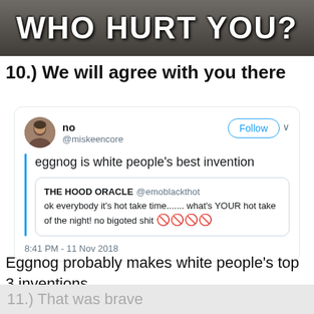[Figure (screenshot): Meme header image showing hands at a table with dark overlay and text 'WHO HURT YOU?' in Impact font]
10.) We will agree with you there
[Figure (screenshot): Tweet screenshot from user 'no' (@miskeencore) saying 'eggnog is white people's best invention', quoting THE HOOD ORACLE @emoblackthot who said 'ok everybody it's hot take time....... what's YOUR hot take of the night! no bigoted shit 🚫🚫🚫🚫'. Time: 8:41 PM - 11 Nov 2018]
Eggnog probably makes white people's top 3 inventions.
11.) That was brave